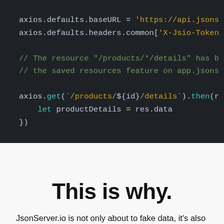[Figure (screenshot): Dark-themed code editor screenshot showing axios configuration and an axios.get call with JavaScript code. Lines include axios.defaults.baseURL, axios.defaults.headers.common, comments about '/products/*/details', and an axios.get template literal call with let productDetails = res.data.]
This is why.
JsonServer.io is not only about to fake data, it's also